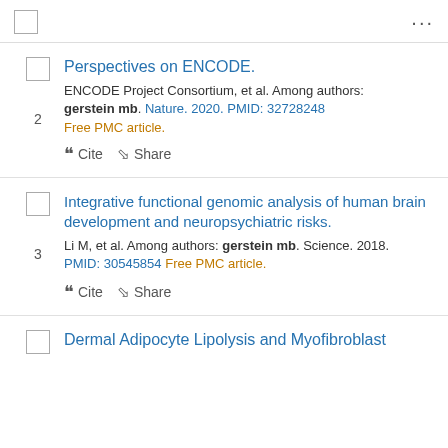...
Perspectives on ENCODE.
ENCODE Project Consortium, et al. Among authors: gerstein mb. Nature. 2020. PMID: 32728248
Free PMC article.
Cite  Share
Integrative functional genomic analysis of human brain development and neuropsychiatric risks.
Li M, et al. Among authors: gerstein mb. Science. 2018. PMID: 30545854 Free PMC article.
Cite  Share
Dermal Adipocyte Lipolysis and Myofibroblast